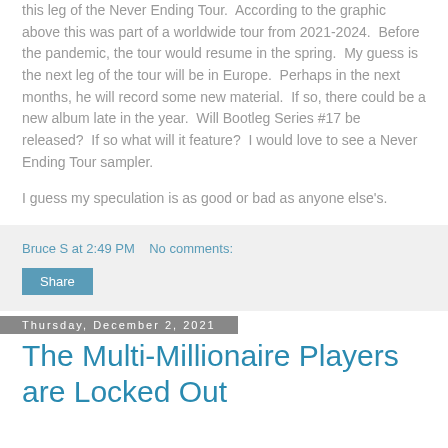this leg of the Never Ending Tour.  According to the graphic above this was part of a worldwide tour from 2021-2024.  Before the pandemic, the tour would resume in the spring.  My guess is the next leg of the tour will be in Europe.  Perhaps in the next months, he will record some new material.  If so, there could be a new album late in the year.  Will Bootleg Series #17 be released?  If so what will it feature?  I would love to see a Never Ending Tour sampler.
I guess my speculation is as good or bad as anyone else's.
Bruce S at 2:49 PM    No comments:
Share
Thursday, December 2, 2021
The Multi-Millionaire Players are Locked Out